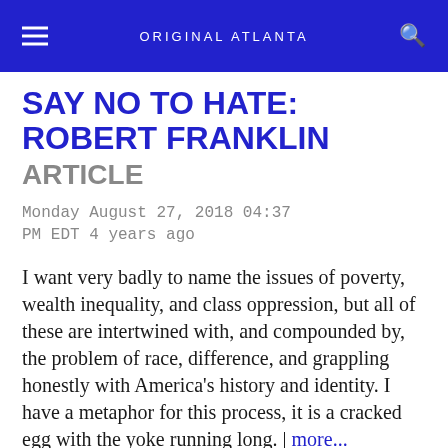ORIGINAL ATLANTA
SAY NO TO HATE: ROBERT FRANKLIN ARTICLE
Monday August 27, 2018 04:37 PM EDT 4 years ago
I want very badly to name the issues of poverty, wealth inequality, and class oppression, but all of these are intertwined with, and compounded by, the problem of race, difference, and grappling honestly with America's history and identity. I have a metaphor for this process, it is a cracked egg with the yoke running long. | more...